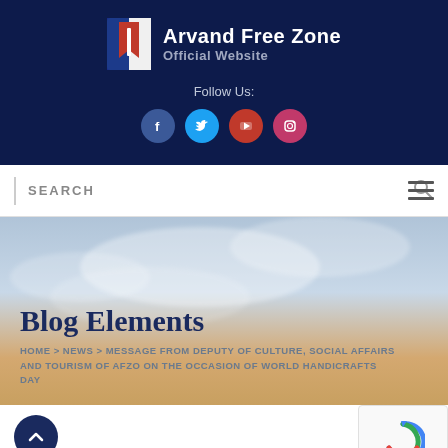Arvand Free Zone Official Website
Follow Us:
[Figure (screenshot): Social media icons: Facebook, Twitter, YouTube, Instagram]
SEARCH
Blog Elements
HOME > NEWS > MESSAGE FROM DEPUTY OF CULTURE, SOCIAL AFFAIRS AND TOURISM OF AFZO ON THE OCCASION OF WORLD HANDICRAFTS DAY
Message from Deputy of